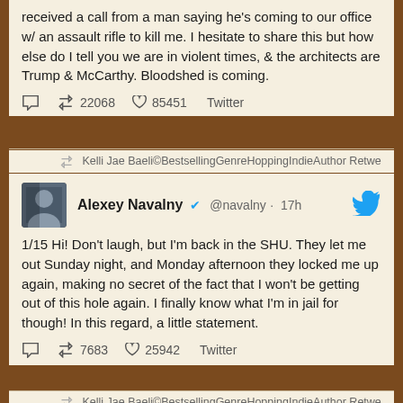received a call from a man saying he's coming to our office w/ an assault rifle to kill me. I hesitate to share this but how else do I tell you we are in violent times, & the architects are Trump & McCarthy. Bloodshed is coming.
22068 retweets 85451 likes Twitter
Kelli Jae Baeli©BestsellingGenreHoppingIndieAuthor Retwe
[Figure (photo): Avatar photo of Alexey Navalny]
Alexey Navalny @navalny · 17h
1/15 Hi! Don't laugh, but I'm back in the SHU. They let me out Sunday night, and Monday afternoon they locked me up again, making no secret of the fact that I won't be getting out of this hole again. I finally know what I'm in jail for though! In this regard, a little statement.
7683 retweets 25942 likes Twitter
Kelli Jae Baeli©BestsellingGenreHoppingIndieAuthor Retwe